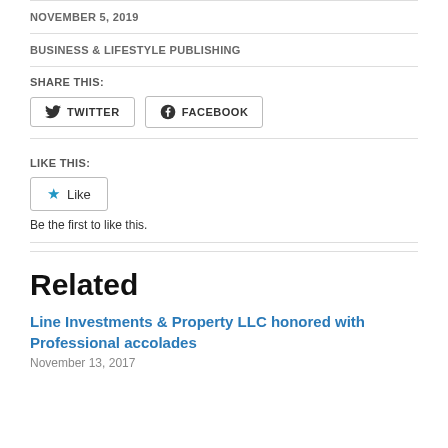NOVEMBER 5, 2019
BUSINESS & LIFESTYLE PUBLISHING
SHARE THIS:
TWITTER   FACEBOOK
LIKE THIS:
Like
Be the first to like this.
Related
Line Investments & Property LLC honored with Professional accolades
November 13, 2017